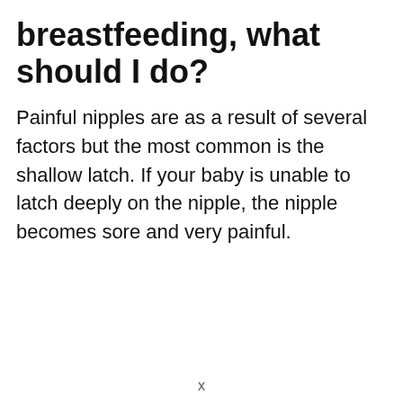breastfeeding, what should I do?
Painful nipples are as a result of several factors but the most common is the shallow latch. If your baby is unable to latch deeply on the nipple, the nipple becomes sore and very painful.
x